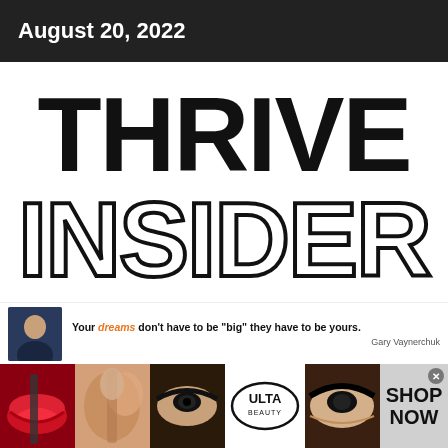August 20, 2022
THRIVE INSIDER
Your dreams don't have to be "big" they have to be yours. Gary Vaynerchuk
[Figure (advertisement): Ulta Beauty advertisement banner with makeup imagery (lips, brush, eye makeup, Ulta Beauty logo, bold eye makeup) and Shop Now call to action]